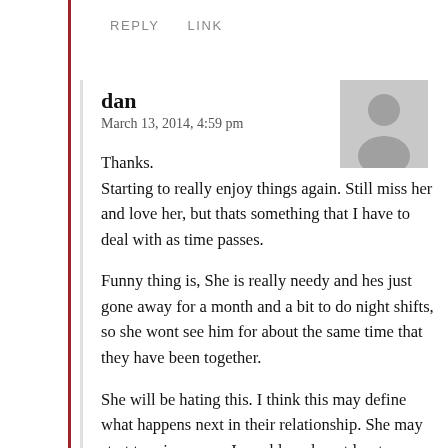REPLY   LINK
dan
March 13, 2014, 4:59 pm
Thanks.
Starting to really enjoy things again. Still miss her and love her, but thats something that I have to deal with as time passes.

Funny thing is, She is really needy and hes just gone away for a month and a bit to do night shifts, so she wont see him for about the same time that they have been together.

She will be hating this. I think this may define what happens next in their relationship. She may start to miss me, as I would see her at least everyday. She may try